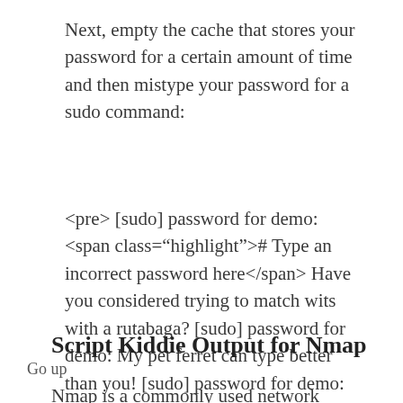Next, empty the cache that stores your password for a certain amount of time and then mistype your password for a sudo command:
<pre> [sudo] password for demo: <span class="highlight"># Type an incorrect password here</span> Have you considered trying to match wits with a rutabaga? [sudo] password for demo: My pet ferret can type better than you! [sudo] password for demo: Wrong! You cheating scum! </pre>
Script Kiddie Output for Nmap
Go up
Nmap is a commonly used network exploration